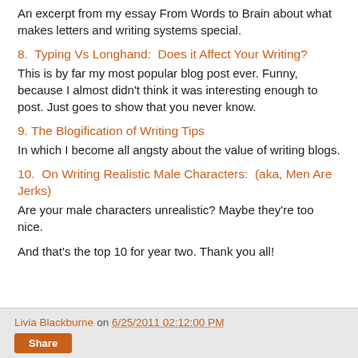An excerpt from my essay From Words to Brain about what makes letters and writing systems special.
8. Typing Vs Longhand: Does it Affect Your Writing? This is by far my most popular blog post ever. Funny, because I almost didn't think it was interesting enough to post. Just goes to show that you never know.
9. The Blogification of Writing Tips In which I become all angsty about the value of writing blogs.
10. On Writing Realistic Male Characters: (aka, Men Are Jerks) Are your male characters unrealistic? Maybe they're too nice.
And that's the top 10 for year two. Thank you all!
Livia Blackburne on 6/25/2011 02:12:00 PM Share